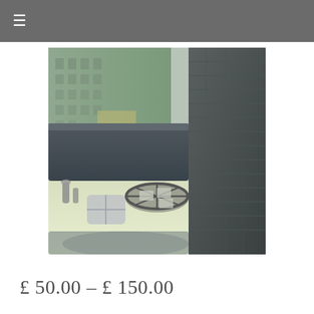☰
[Figure (illustration): A painting or artwork depicting an urban canal scene with boats, buildings in the background with green-tinted facades, and large dark structural elements (possibly bridge or column bases) in the foreground. The scene is rendered in muted grey, green, and cream tones with textured details.]
£ 50.00 – £ 150.00